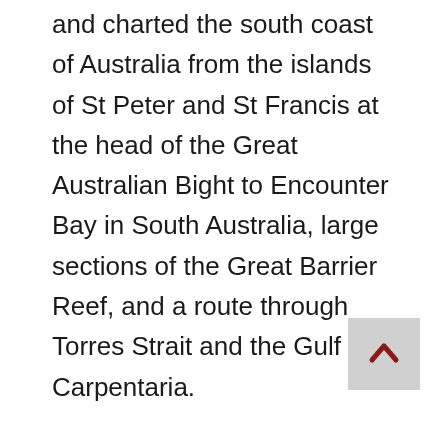and charted the south coast of Australia from the islands of St Peter and St Francis at the head of the Great Australian Bight to Encounter Bay in South Australia, large sections of the Great Barrier Reef, and a route through Torres Strait and the Gulf of Carpentaria.

Next on the scene after Flinders was Phillip Parker King, boy veteran of the Napoleonic Wars and in 1817 a lieutenant in his twenties. King's amazing explorations, surveys and circumnavigations of Australia between 1817 and 1822, have earned for him the title 'Father of Australian Hydrography'. But even King left